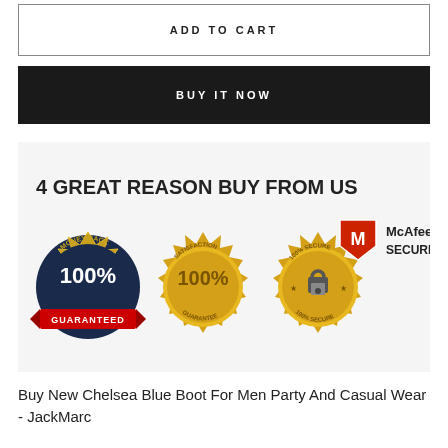ADD TO CART
BUY IT NOW
[Figure (infographic): Trust badges infographic showing '4 GREAT REASON BUY FROM US' with four badges: 100% Money Back Guaranteed, 100% Satisfaction Guarantee, 100% Secure, and McAfee Secure logo]
Buy New Chelsea Blue Boot For Men Party And Casual Wear - JackMarc